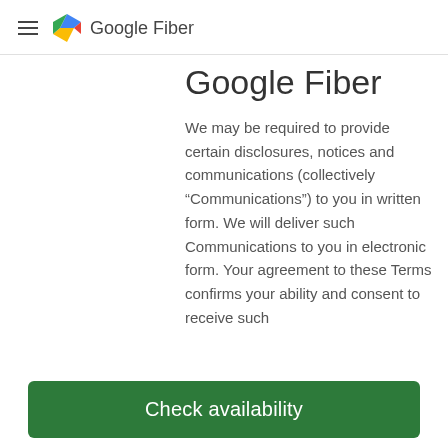Google Fiber
Google Fiber
We may be required to provide certain disclosures, notices and communications (collectively “Communications”) to you in written form. We will deliver such Communications to you in electronic form. Your agreement to these Terms confirms your ability and consent to receive such
Check availability